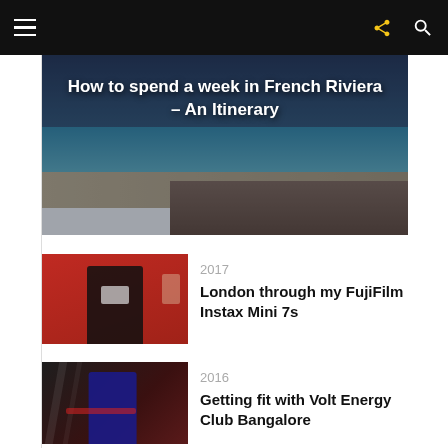Navigation bar with hamburger menu, share icon, and search icon
[Figure (photo): Aerial photo of French Riviera coastline with text overlay: How to spend a week in French Riviera – An Itinerary]
How to spend a week in French Riviera – An Itinerary
[Figure (photo): Person taking selfie with Fujifilm Instax camera against red door background]
2017
London through my FujiFilm Instax Mini 7s
[Figure (photo): Person in gym wearing Puma outfit]
2016
Getting fit with Volt Energy Club Bangalore